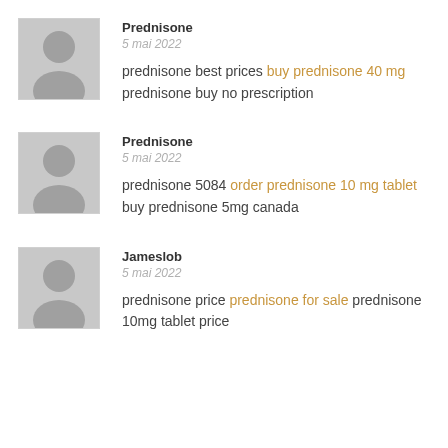Prednisone
5 mai 2022
prednisone best prices buy prednisone 40 mg prednisone buy no prescription
Prednisone
5 mai 2022
prednisone 5084 order prednisone 10 mg tablet buy prednisone 5mg canada
Jameslob
5 mai 2022
prednisone price prednisone for sale prednisone 10mg tablet price